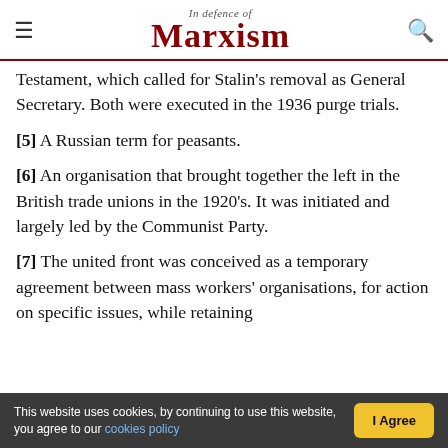In Defence of Marxism
Testament, which called for Stalin's removal as General Secretary. Both were executed in the 1936 purge trials.
[5] A Russian term for peasants.
[6] An organisation that brought together the left in the British trade unions in the 1920's. It was initiated and largely led by the Communist Party.
[7] The united front was conceived as a temporary agreement between mass workers' organisations, for action on specific issues, while retaining
This website uses cookies, by continuing to use this website, you agree to our cookies policy | I Agree